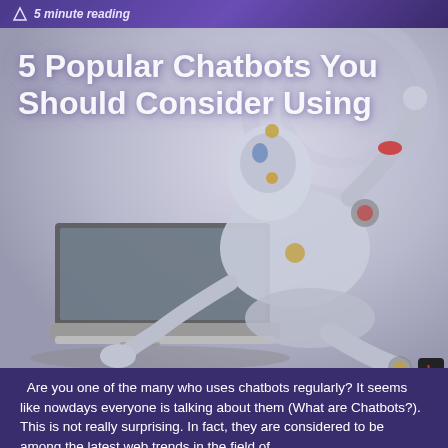5 minute reading
[Figure (illustration): A humanoid robot with silver and white body, lying prone and using a laptop computer. The image has a light gray/blue background with faint circular pattern. Title text overlaid: '5 Popular Chatbots You Should Consider Using']
5 Popular Chatbots You Should Consider Using
Are you one of the many who uses chatbots regularly? It seems like nowdays everyone is talking about them (What are Chatbots?). This is not really surprising. In fact, they are considered to be among the latest web trends in the field of